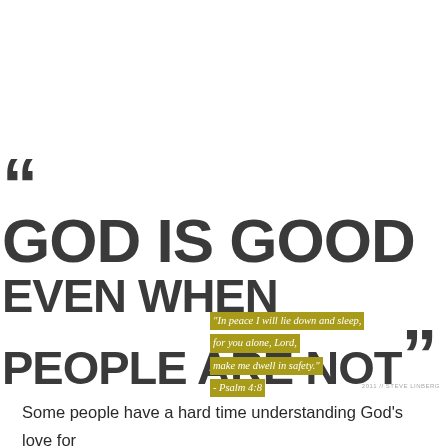"GOD IS GOOD EVEN WHEN PEOPLE ARE NOT"
"In peace I will lie down and sleep, for you alone, Lord, make me dwell in safety." - Psalm 4:8
Some people have a hard time understanding God's love for them because they think He planned what hurts them so much.